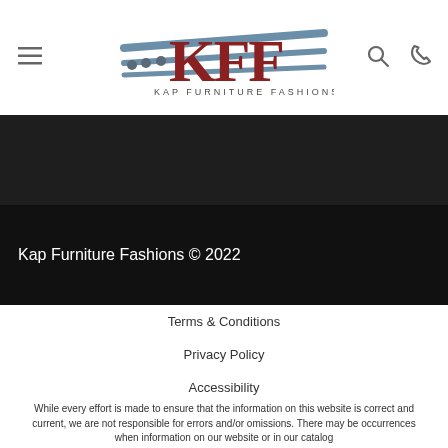[Figure (logo): KFF - Kap Furniture Fashions logo with stylized letters and three dots]
Kap Furniture Fashions © 2022
Terms & Conditions
Privacy Policy
Accessibility
While every effort is made to ensure that the information on this website is correct and current, we are not responsible for errors and/or omissions. There may be occurrences when information on our website or in our catalog